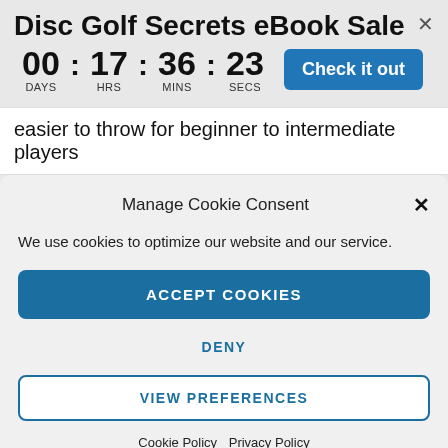Disc Golf Secrets eBook Sale
00 : 17 : 36 : 23  DAYS  HRS  MINS  SECS
Check it out
easier to throw for beginner to intermediate players
Manage Cookie Consent
We use cookies to optimize our website and our service.
ACCEPT COOKIES
DENY
VIEW PREFERENCES
Cookie Policy  Privacy Policy